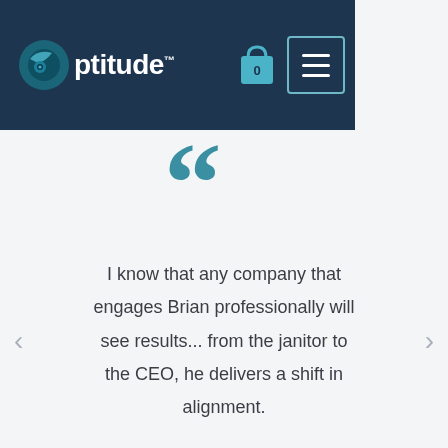[Figure (logo): Optitude logo with teal/dark blue globe icon and white text 'Optitude' with trademark symbol, displayed on dark navy navigation bar with shopping bag icon and hamburger menu]
[Figure (illustration): Large teal opening double quotation marks decorative element]
I know that any company that engages Brian professionally will see results... from the janitor to the CEO, he delivers a shift in alignment.
[Figure (illustration): Large teal closing double quotation marks decorative element]